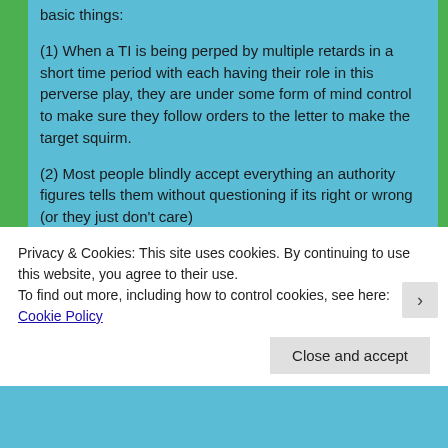basic things:
(1) When a TI is being perped by multiple retards in a short time period with each having their role in this perverse play, they are under some form of mind control to make sure they follow orders to the letter to make the target squirm.
(2) Most people blindly accept everything an authority figures tells them without questioning if its right or wrong (or they just don't care)
(3) Most people are just no good. They have a cheap price to hurt others. They have little to no empathy, are dumber than ever and find suffering funny.
I refuse to buy the idea that most people are afraid that if they don't cooperate with the government representatives asking them to perp someone that
Privacy & Cookies: This site uses cookies. By continuing to use this website, you agree to their use.
To find out more, including how to control cookies, see here: Cookie Policy
Close and accept